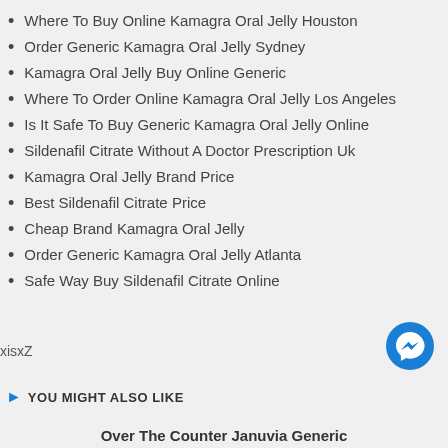Where To Buy Online Kamagra Oral Jelly Houston
Order Generic Kamagra Oral Jelly Sydney
Kamagra Oral Jelly Buy Online Generic
Where To Order Online Kamagra Oral Jelly Los Angeles
Is It Safe To Buy Generic Kamagra Oral Jelly Online
Sildenafil Citrate Without A Doctor Prescription Uk
Kamagra Oral Jelly Brand Price
Best Sildenafil Citrate Price
Cheap Brand Kamagra Oral Jelly
Order Generic Kamagra Oral Jelly Atlanta
Safe Way Buy Sildenafil Citrate Online
xisxZ
[Figure (other): Facebook Messenger chat button icon (blue circle with white lightning bolt/messenger logo)]
YOU MIGHT ALSO LIKE
Over The Counter Januvia Generic